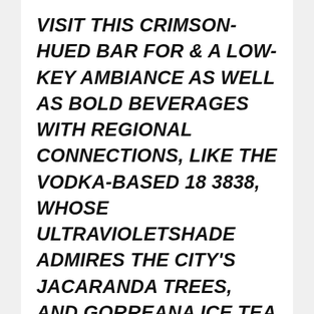VISIT THIS CRIMSON-HUED BAR FOR & A LOW-KEY AMBIANCE AS WELL AS BOLD BEVERAGES WITH REGIONAL CONNECTIONS, LIKE THE VODKA-BASED 18 3838, WHOSE ULTRAVIOLETSHADE ADMIRES THE CITY'S JACARANDA TREES, AND GORREANA ICE TEA 1883, A HOMAGE TO EUROPE'S EARLIEST TEA RANCH IN THE AZORES. THE EXECUTIVE LOUNGE, HOTEL 41,